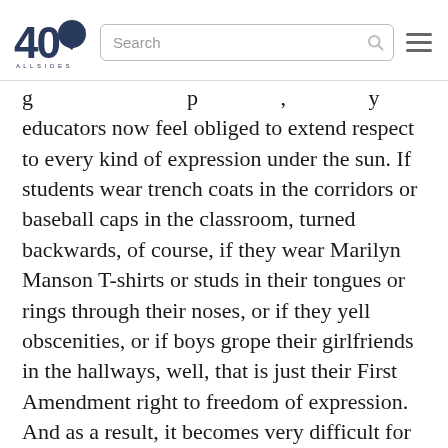40 [logo] Search [hamburger menu]
educators now feel obliged to extend respect to every kind of expression under the sun. If students wear trench coats in the corridors or baseball caps in the classroom, turned backwards, of course, if they wear Marilyn Manson T-shirts or studs in their tongues or rings through their noses, or if they yell obscenities, or if boys grope their girlfriends in the hallways, well, that is just their First Amendment right to freedom of expression. And as a result, it becomes very difficult for schools to provide a sense of common